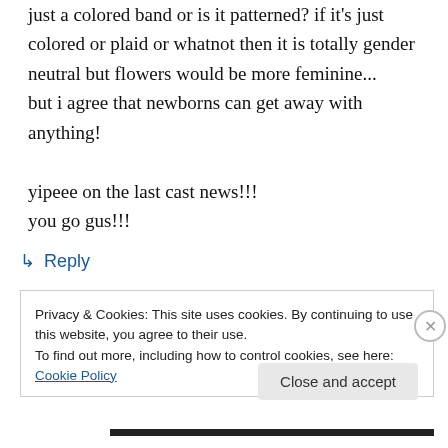just a colored band or is it patterned? if it's just colored or plaid or whatnot then it is totally gender neutral but flowers would be more feminine...
but i agree that newborns can get away with anything!

yipeee on the last cast news!!!
you go gus!!!
↳ Reply
Privacy & Cookies: This site uses cookies. By continuing to use this website, you agree to their use.
To find out more, including how to control cookies, see here: Cookie Policy
Close and accept